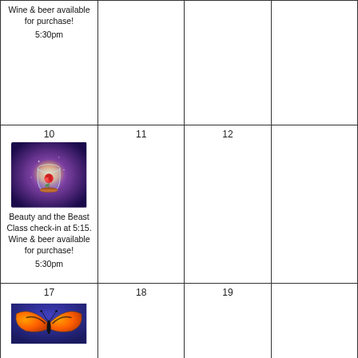| Wine & beer available for purchase!
5:30pm | 11 | 12 |  |
| 10
Beauty and the Beast Class check-in at 5:15. Wine & beer available for purchase!
5:30pm | 11 | 12 |  |
| 17 | 18 | 19 |  |